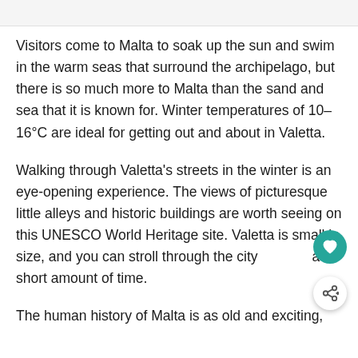Visitors come to Malta to soak up the sun and swim in the warm seas that surround the archipelago, but there is so much more to Malta than the sand and sea that it is known for. Winter temperatures of 10–16°C are ideal for getting out and about in Valetta.
Walking through Valetta's streets in the winter is an eye-opening experience. The views of picturesque little alleys and historic buildings are worth seeing on this UNESCO World Heritage site. Valetta is small in size, and you can stroll through the city a short amount of time.
The human history of Malta is as old and exciting,